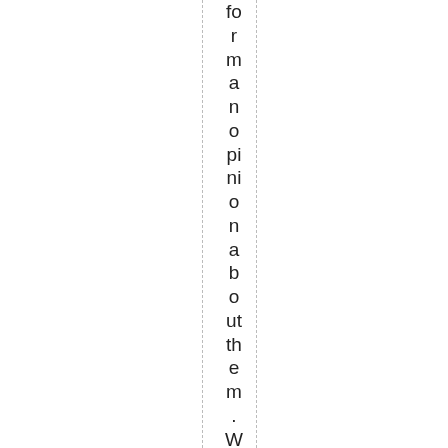for man a no pi ni o n a b o ut the m. Why? It wa